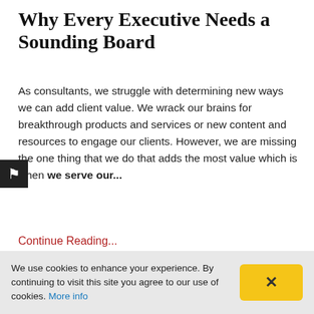Why Every Executive Needs a Sounding Board
As consultants, we struggle with determining new ways we can add client value. We wrack our brains for breakthrough products and services or new content and resources to engage our clients. However, we are missing the one thing that we do that adds the most value which is when we serve our...
Continue Reading...
[Figure (photo): Photo of hands, appears to show people in a collaborative or meeting setting]
We use cookies to enhance your experience. By continuing to visit this site you agree to our use of cookies. More info